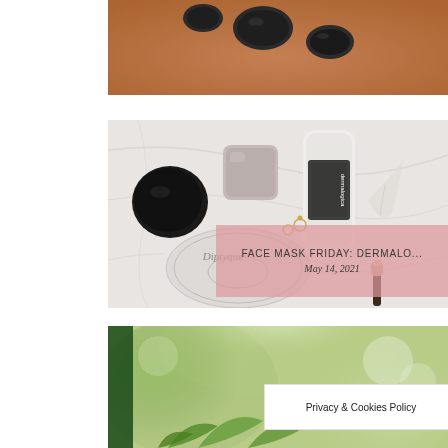[Figure (photo): Partial view of hot stones placed on a person's back, warm skin tones with dark smooth stones, spa/massage setting, cropped at top of page]
[Figure (photo): Overhead flat-lay of skincare and beauty products on a marble surface, including a Dermalogica bottle, a round Diptyque candle lid, a rose quartz stone, jewelry, rings, a feather, and a makeup brush]
FACE MASK FRIDAY: DERMALO...
May 14, 2021
[Figure (photo): Blurry background image of green plants and bokeh lighting, partially visible at bottom of page]
Privacy & Cookies Policy